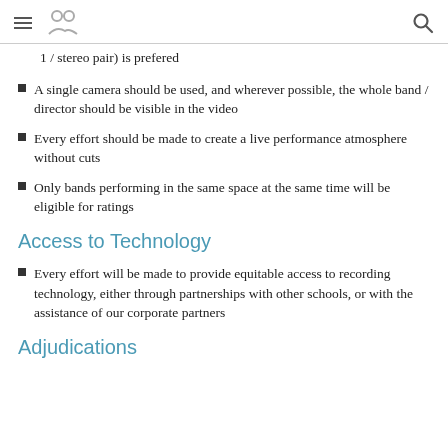[hamburger menu] [logo] [search icon]
1 / stereo pair) is prefered
A single camera should be used, and wherever possible, the whole band / director should be visible in the video
Every effort should be made to create a live performance atmosphere without cuts
Only bands performing in the same space at the same time will be eligible for ratings
Access to Technology
Every effort will be made to provide equitable access to recording technology, either through partnerships with other schools, or with the assistance of our corporate partners
Adjudications